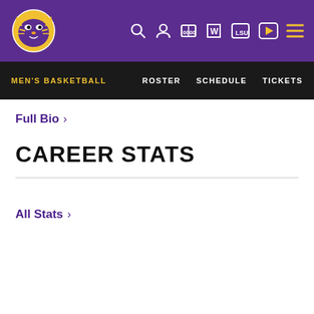LSU Tigers Men's Basketball - Navigation header with logo and icons
MEN'S BASKETBALL | ROSTER | SCHEDULE | TICKETS
Full Bio >
CAREER STATS
All Stats >